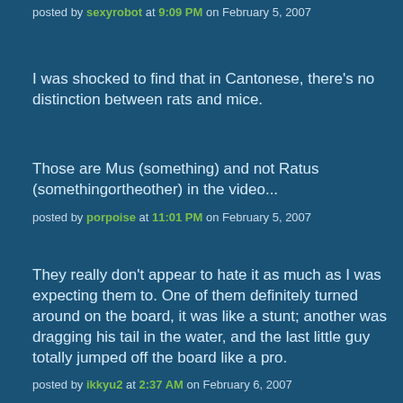posted by sexyrobot at 9:09 PM on February 5, 2007
I was shocked to find that in Cantonese, there's no distinction between rats and mice.
Those are Mus (something) and not Ratus (somethingortheother) in the video...
posted by porpoise at 11:01 PM on February 5, 2007
They really don't appear to hate it as much as I was expecting them to. One of them definitely turned around on the board, it was like a stunt; another was dragging his tail in the water, and the last little guy totally jumped off the board like a pro.
posted by ikkyu2 at 2:37 AM on February 6, 2007